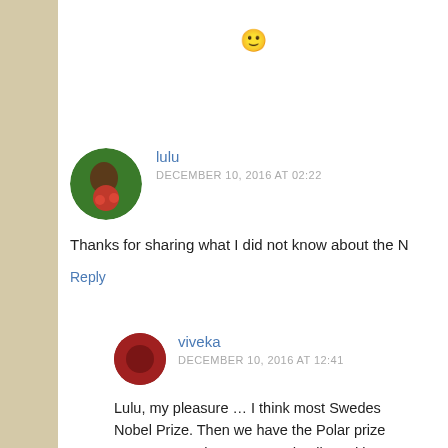[Figure (other): Smiley face emoji 🙂]
[Figure (photo): Round avatar photo of user lulu, woman in red jacket]
lulu
DECEMBER 10, 2016 AT 02:22
Thanks for sharing what I did not know about the N
Reply
[Figure (photo): Round avatar photo of user viveka, dark red circular image]
viveka
DECEMBER 10, 2016 AT 12:41
Lulu, my pleasure … I think most Swedes Nobel Prize. Then we have the Polar prize every year, I change some details and imag